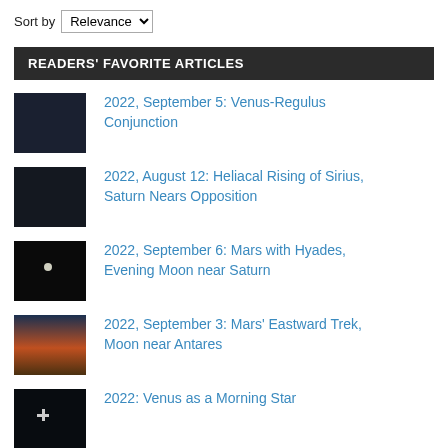Sort by Relevance
READERS' FAVORITE ARTICLES
2022, September 5: Venus-Regulus Conjunction
2022, August 12:  Heliacal Rising of Sirius, Saturn Nears Opposition
2022, September 6: Mars with Hyades, Evening Moon near Saturn
2022, September 3: Mars' Eastward Trek, Moon near Antares
2022:  Venus as a Morning Star